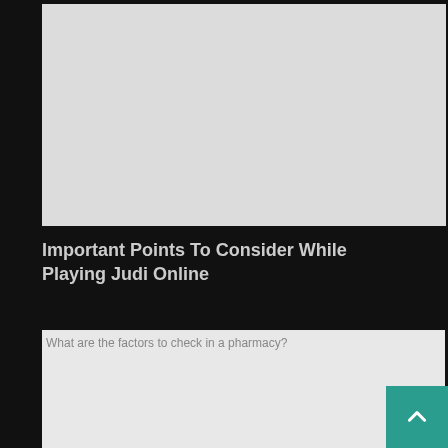[Figure (photo): Light gray placeholder image box at the top of the page]
Important Points To Consider While Playing Judi Online
[Figure (photo): Second image with alt text: What are the factors to check in a pharmacy?]